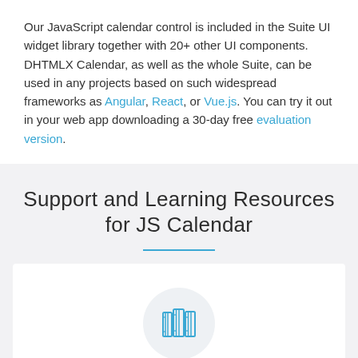Our JavaScript calendar control is included in the Suite UI widget library together with 20+ other UI components. DHTMLX Calendar, as well as the whole Suite, can be used in any projects based on such widespread frameworks as Angular, React, or Vue.js. You can try it out in your web app downloading a 30-day free evaluation version.
Support and Learning Resources for JS Calendar
[Figure (illustration): Books/documentation icon: three vertical book spines in a circular light gray background, drawn in blue outline style]
Documentation